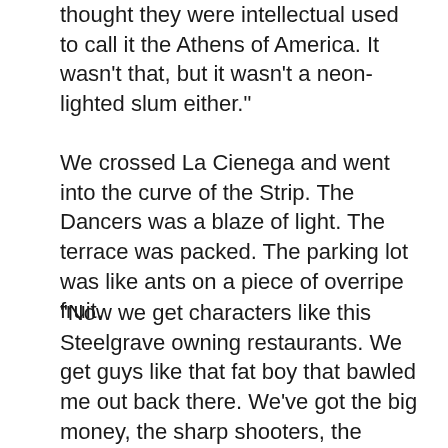thought they were intellectual used to call it the Athens of America. It wasn't that, but it wasn't a neon-lighted slum either."
We crossed La Cienega and went into the curve of the Strip. The Dancers was a blaze of light. The terrace was packed. The parking lot was like ants on a piece of overripe fruit.
“Now we get characters like this Steelgrave owning restaurants. We get guys like that fat boy that bawled me out back there. We’ve got the big money, the sharp shooters, the percentage workers, the fast-dollar boys, the hoodlums out of New York and Chicago and Detroit — and Cleveland. We’ve got the flash restaurants and night clubs they run, and the hotels and apartment houses they own, and the grifters and con men